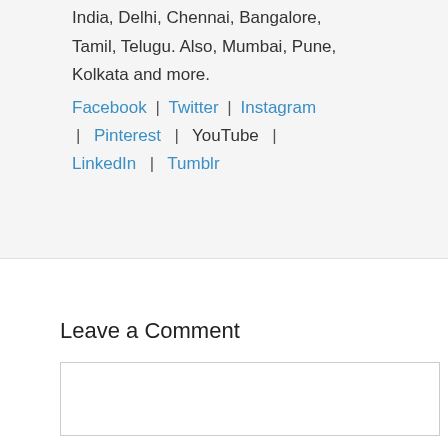India, Delhi, Chennai, Bangalore, Tamil, Telugu. Also, Mumbai, Pune, Kolkata and more. Facebook | Twitter | Instagram | Pinterest | YouTube | LinkedIn | Tumblr
Leave a Comment